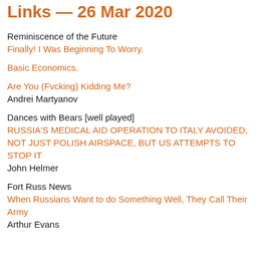Links — 26 Mar 2020
Reminiscence of the Future
Finally! I Was Beginning To Worry.
Basic Economics.
Are You (Fvcking) Kidding Me?
Andrei Martyanov
Dances with Bears [well played]
RUSSIA'S MEDICAL AID OPERATION TO ITALY AVOIDED, NOT JUST POLISH AIRSPACE, BUT US ATTEMPTS TO STOP IT
John Helmer
Fort Russ News
When Russians Want to do Something Well, They Call Their Army
Arthur Evans